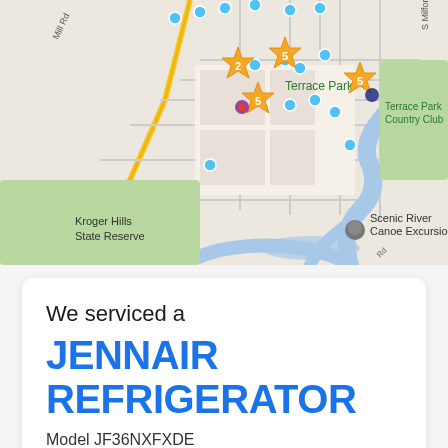[Figure (map): Google Maps view showing Terrace Park area with star rating markers (showing 2, 5, 5, 5) and multiple blue dot markers. Shows Kroger Hills State Reserve, Scenic River Canoe Excursions, Terrace Park Country Club, and road labels including Mill Rd, S Milford, and others.]
We serviced a
JENNAIR REFRIGERATOR
Model JF36NXFXDE